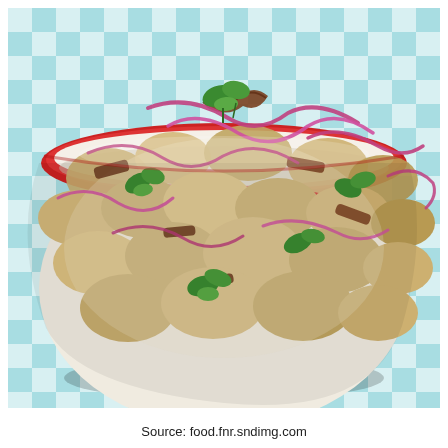[Figure (photo): A bowl of potato salad with red onions, bacon, and fresh parsley garnish, sitting on a blue and white checkered tablecloth. The bowl has a red rim.]
Source: food.fnr.sndimg.com